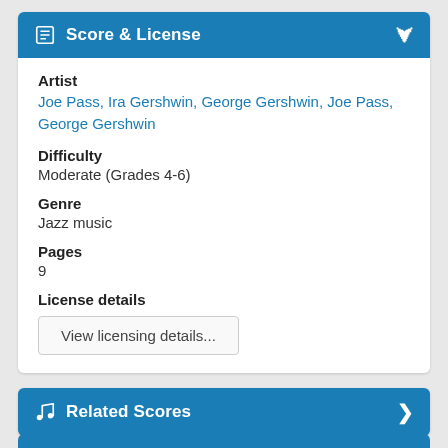Score & License
Artist
Joe Pass, Ira Gershwin, George Gershwin, Joe Pass, George Gershwin
Difficulty
Moderate (Grades 4-6)
Genre
Jazz music
Pages
9
License details
View licensing details...
Related Scores